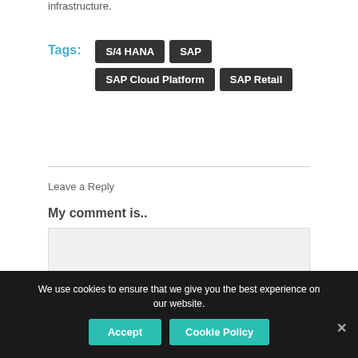infrastructure.
Tags: S/4 HANA SAP SAP Cloud Platform SAP Retail
Leave a Reply
My comment is..
We use cookies to ensure that we give you the best experience on our website.